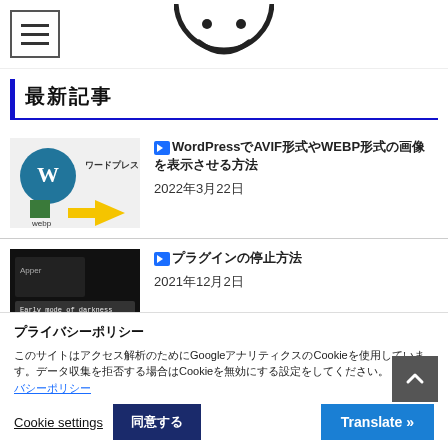[Figure (logo): Hamburger menu icon and circular logo/icon at the top of a Japanese blog page]
最新記事
[Figure (screenshot): WordPress to WebP conversion thumbnail showing WordPress logo and yellow arrow pointing to WebP]
WordPressでAVIF形式やWEBP形式の画像を表示させる方法
2022年3月22日
[Figure (screenshot): Dark background screenshot of some software or website interface]
プラグインの停止方法
2021年12月2日
プライバシーポリシー
このサイトはアクセス解析のためにGoogleアナリティクスのCookieを使用しています。データ収集を拒否する場合はCookieを無効にする設定をしてください。 プライバシーポリシー
Cookie settings
同意する
Translate »